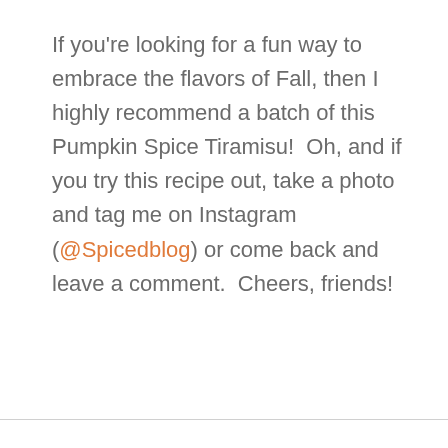If you're looking for a fun way to embrace the flavors of Fall, then I highly recommend a batch of this Pumpkin Spice Tiramisu!  Oh, and if you try this recipe out, take a photo and tag me on Instagram (@Spicedblog) or come back and leave a comment.  Cheers, friends!